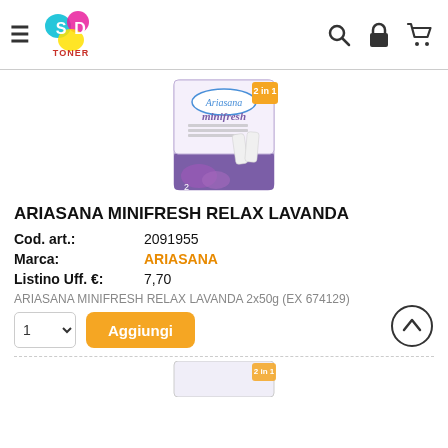SD Toner — navigation header with hamburger menu, logo, search, login, and cart icons
[Figure (photo): Ariasana Minifresh Relax Lavanda product box — purple and white packaging showing 2-in-1 scented moisture-absorbing sachets with lavender flowers]
ARIASANA MINIFRESH RELAX LAVANDA
| Cod. art.: | 2091955 |
| Marca: | ARIASANA |
| Listino Uff. €: | 7,70 |
ARIASANA MINIFRESH RELAX LAVANDA 2x50g (EX 674129)
1  Aggiungi (add to cart button with quantity selector)
[Figure (photo): Partial view of another product image at bottom of page]